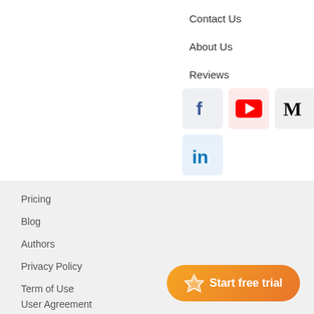Contact Us
About Us
Reviews
[Figure (infographic): Social media icons: Facebook, YouTube, Medium, Email, LinkedIn]
Pricing
Blog
Authors
Privacy Policy
Term of Use
User Agreement
[Figure (infographic): Start free trial button with diamond icon]